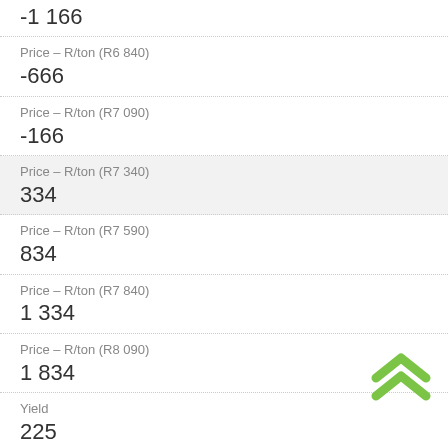-1 166
Price – R/ton (R6 840)
-666
Price – R/ton (R7 090)
-166
Price – R/ton (R7 340)
334
Price – R/ton (R7 590)
834
Price – R/ton (R7 840)
1 334
Price – R/ton (R8 090)
1 834
Yield
225
Price – R/ton (R6 590)
482
Price – R/ton (R6 840)